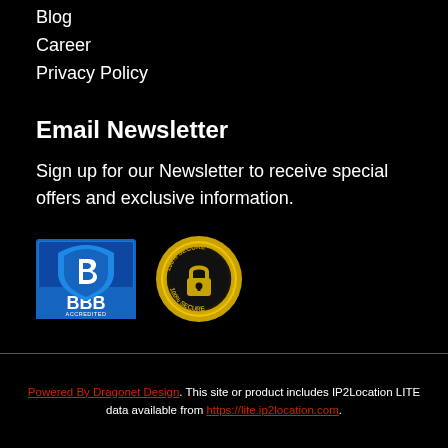Blog
Career
Privacy Policy
Email Newsletter
Sign up for our Newsletter to receive special offers and exclusive information.
[Figure (logo): BBB Accredited Business badge with blue and white logo]
[Figure (logo): 100% Secure badge, gold seal with padlock icon]
Powered By Dragonet Design. This site or product includes IP2Location LITE data available from https://lite.ip2location.com.